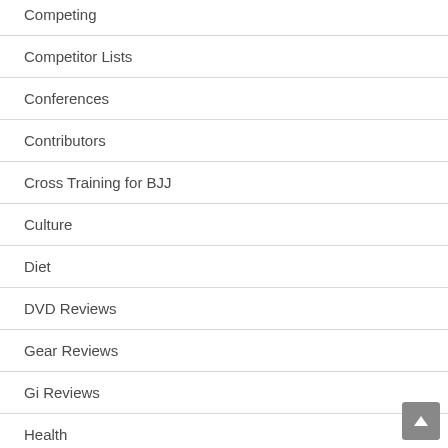Competing
Competitor Lists
Conferences
Contributors
Cross Training for BJJ
Culture
Diet
DVD Reviews
Gear Reviews
Gi Reviews
Health
Highlight Reel
Insider Training